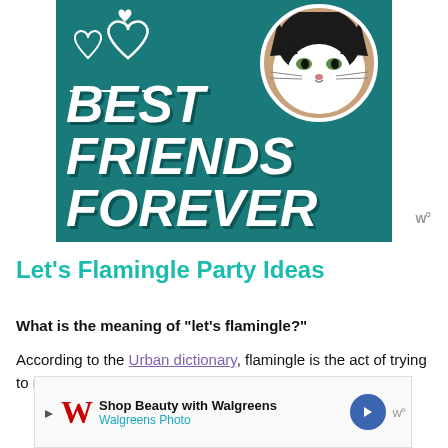[Figure (illustration): Advertisement image with teal background showing 'BEST FRIENDS FOREVER' text in large bold italic white letters, white heart outlines in top-left, and a black-and-white cat face sticker in top-right corner]
Let’s Flamingle Party Ideas
What is the meaning of “let’s flamingle?”
According to the Urban dictionary, flamingle is the act of trying to mingle or flirt in a way that is so...
[Figure (advertisement): Walgreens ad banner: Shop Beauty with Walgreens / Walgreens Photo, with Walgreens cursive W logo and blue navigation arrow button]